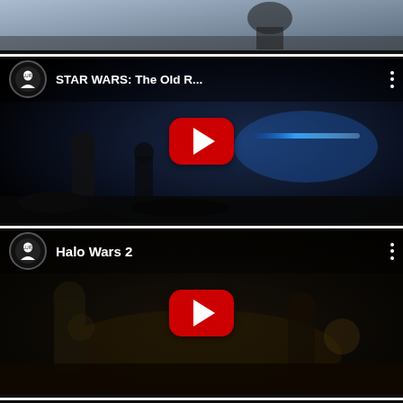[Figure (screenshot): Partial top video card showing a dark action game scene cropped at the top of the page]
[Figure (screenshot): YouTube video card for 'STAR WARS: The Old R...' by BLUR channel with a dark sci-fi scene featuring characters with lightsabers and a red YouTube play button overlay]
[Figure (screenshot): YouTube video card for 'Halo Wars 2' by BLUR channel with a dark battle scene featuring armored characters and a red YouTube play button overlay]
[Figure (screenshot): Partial bottom video card for 'Assassin's Creed Unity ...' by BLUR channel, cropped at the bottom of the page]